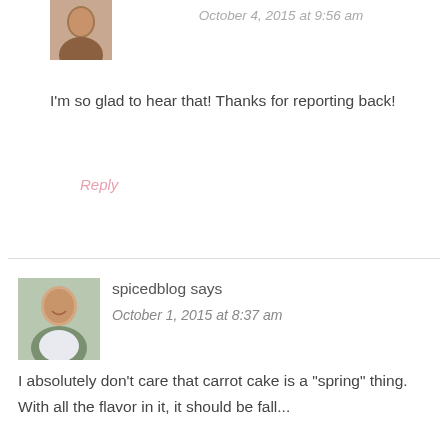[Figure (photo): Small avatar photo of a person, top area]
October 4, 2015 at 9:56 am
I'm so glad to hear that! Thanks for reporting back!
Reply
[Figure (photo): Avatar photo of spicedblog author, a smiling man]
spicedblog says
October 1, 2015 at 8:37 am
I absolutely don't care that carrot cake is a 'spring' thing. With all the flavor in it, it should be fall...